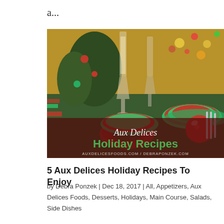a...
[Figure (photo): Holiday table setting with champagne glasses, Christmas tree, red ornaments, green napkins, and red plates. Text overlay reads 'Aux Delices Holiday Recipes' with website URL auxdelicesfoods.com / debraponzek.com]
5 Aux Delices Holiday Recipes To Enjoy
by Debra Ponzek | Dec 18, 2017 | All, Appetizers, Aux Delices Foods, Desserts, Holidays, Main Course, Salads, Side Dishes